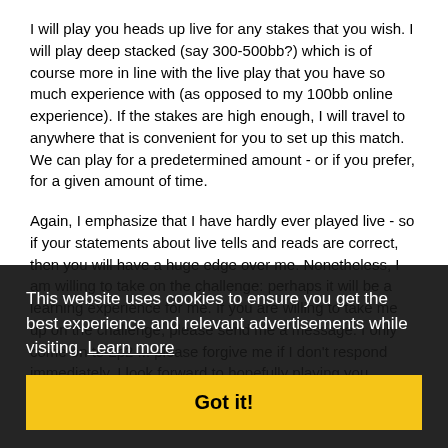I will play you heads up live for any stakes that you wish. I will play deep stacked (say 300-500bb?) which is of course more in line with the live play that you have so much experience with (as opposed to my 100bb online experience). If the stakes are high enough, I will travel to anywhere that is convenient for you to set up this match. We can play for a predetermined amount - or if you prefer, for a given amount of time.
Again, I emphasize that I have hardly ever played live - so if your statements about live tells and reads are correct, then you will have a huge edge over me. Nonetheless, I am willing to take on the challenge: perhaps it will be a learning experience for me. If you are willing to take me up on the challenge, please send me a message. I only come on to 2p2 ... please forgive me if I don't respond immediately. I look forward to hopefully playing you.
liman
This website uses cookies to ensure you get the best experience and relevant advertisements while visiting. Learn more
Got it!
Quote